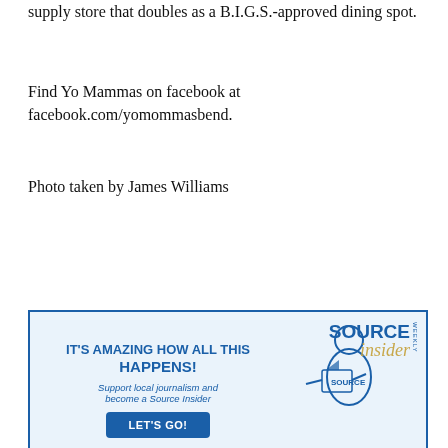supply store that doubles as a B.I.G.S.-approved dining spot.
Find Yo Mammas on facebook at facebook.com/yomommasbend.
Photo taken by James Williams
[Figure (advertisement): Source Weekly Insider ad: IT'S AMAZING HOW ALL THIS HAPPENS! Support local journalism and become a Source Insider. LET'S GO! button. Source Weekly Insider logo with illustrated figure.]
[Figure (advertisement): Top Stories banner with SW badge on right side]
[Figure (advertisement): Atmosphere · Iration concert ad: Sunshine & Summer Nights Tour 2021. August 18. Hayden Homes Amphitheater. With special guests: The Grouch, DJ Fresh, Passafire. Live Nation.]